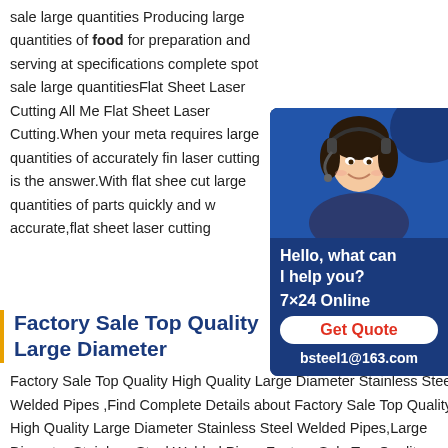sale large quantities Producing large quantities of food for preparation and serving at specifications complete spot sale large quantitiesFlat Sheet Laser Cutting All Me Flat Sheet Laser Cutting.When your meta requires large quantities of accurately fin laser cutting is the answer.With flat shee cut large quantities of parts quickly and w accurate,flat sheet laser cutting
[Figure (other): Chat support widget with photo of woman wearing headset, blue background, text 'Hello, what can I help you?', '7x24 Online', 'Get Quote' button, and 'bsteel1@163.com']
Factory Sale Top Quality Large Diameter
Factory Sale Top Quality High Quality Large Diameter Stainless Steel Welded Pipes ,Find Complete Details about Factory Sale Top Quality High Quality Large Diameter Stainless Steel Welded Pipes,Large Diameter Stainless Steel Welded Pipes,Factory Sale Top Quality Large Diameter Stainless Steel Welded Pipes,High Quality Large Diameter StainlessElica Spot H10 ST IX A 60cm